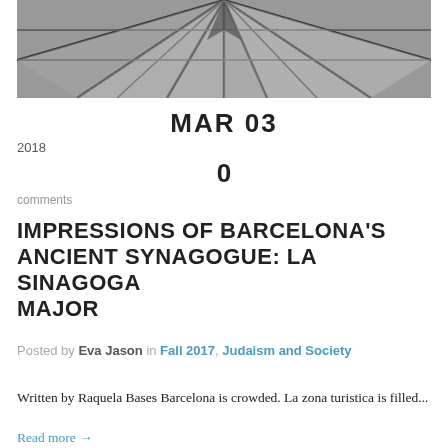[Figure (photo): Black and white photo of geometric glass/metal architecture, possibly a skylight or ceiling structure with triangular patterns]
MAR 03
2018
0
comments
IMPRESSIONS OF BARCELONA'S ANCIENT SYNAGOGUE: LA SINAGOGA MAJOR
Posted by Eva Jason in Fall 2017, Judaism and Society
Written by Raquela Bases Barcelona is crowded. La zona turistica is filled...
Read more →